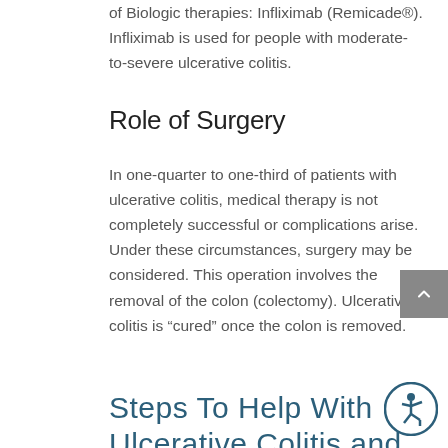of Biologic therapies: Infliximab (Remicade®). Infliximab is used for people with moderate-to-severe ulcerative colitis.
Role of Surgery
In one-quarter to one-third of patients with ulcerative colitis, medical therapy is not completely successful or complications arise. Under these circumstances, surgery may be considered. This operation involves the removal of the colon (colectomy). Ulcerative colitis is “cured” once the colon is removed.
Steps To  Help With Ulcerative Colitis and